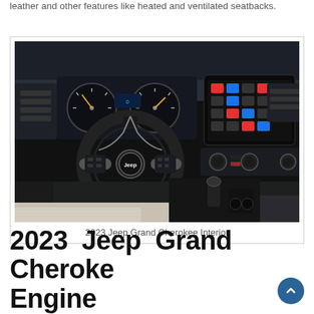leather and other features like heated and ventilated seatbacks.
[Figure (photo): Interior photo of the 2023 Jeep Grand Cherokee showing the steering wheel with Jeep logo, digital instrument cluster, large touchscreen infotainment display, center console with gear shifter, and light-colored leather seats.]
2023 Jeep Grand Cherokee Interior
2023 Jeep Grand Cherokee Engine